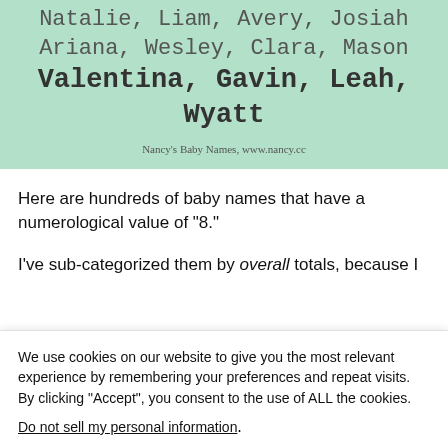[Figure (illustration): Light green background box with baby names in varying sizes: 'Natalie, Liam, Avery, Josiah' (medium gray), 'Ariana, Wesley, Clara, Mason' (medium gray), 'Valentina, Gavin, Leah, Wyatt' (large bold dark), with attribution 'Nancy's Baby Names, www.nancy.cc' at bottom.]
Here are hundreds of baby names that have a numerological value of “8.”
I’ve sub-categorized them by overall totals, because I
We use cookies on our website to give you the most relevant experience by remembering your preferences and repeat visits. By clicking “Accept”, you consent to the use of ALL the cookies.
Do not sell my personal information.